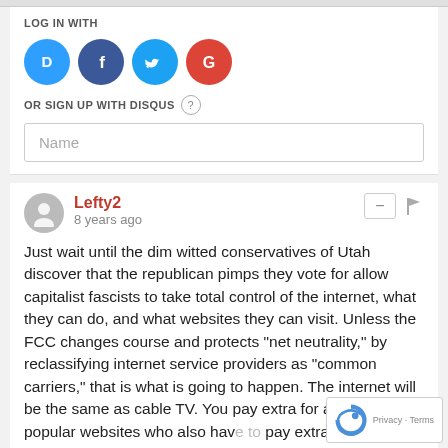LOG IN WITH
[Figure (infographic): Four social login icons: Disqus (blue), Facebook (dark blue), Twitter (light blue), Google (red)]
OR SIGN UP WITH DISQUS
Name
Lefty2
8 years ago
Just wait until the dim witted conservatives of Utah discover that the republican pimps they vote for allow capitalist fascists to take total control of the internet, what they can do, and what websites they can visit. Unless the FCC changes course and protects "net neutrality," by reclassifying internet service providers as "common carriers," that is what is going to happen. The internet will be the same as cable TV. You pay extra for access to popular websites who also have to pay extra to allow you to have access to their sites. And if your ISP doesn't like the content (ie: political views), of a website, or a website you want to visit, they can just block